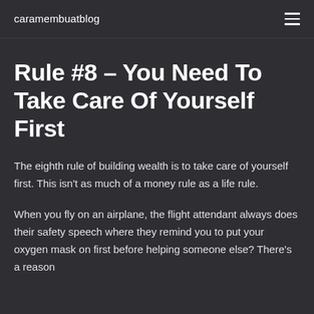caramembuatblog
Rule #8 – You Need To Take Care Of Yourself First
The eighth rule of building wealth is to take care of yourself first. This isn't as much of a money rule as a life rule.
When you fly on an airplane, the flight attendant always does their safety speech where they remind you to put your oxygen mask on first before helping someone else? There's a reason